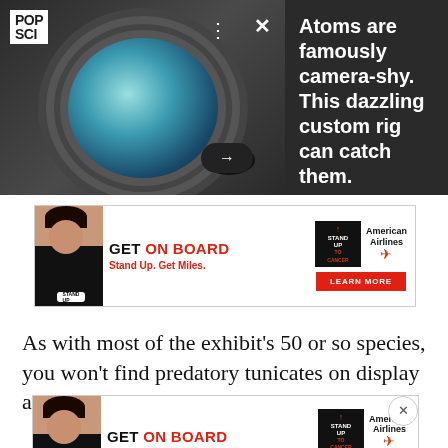[Figure (photo): Scientific laboratory equipment showing a large circular vacuum chamber or optical apparatus with bolted flanges, viewed through a porthole, with metallic components and tubing visible. POP SCI logo in top left corner.]
Atoms are famously camera-shy. This dazzling custom rig can catch them.
[Figure (infographic): Advertisement banner: GET ON BOARD Stand Up. Get Miles. Stand Up To Cancer and American Airlines. LEARN MORE button.]
As with most of the exhibit's 50 or so species, you won't find predatory tunicates on display anywhere else in the wo...ser to th...
[Figure (infographic): Second advertisement banner (partially visible, overlapping article text): GET ON BOARD Stand Up. Get Miles. Stand Up To Cancer and American Airlines. LEARN MORE button.]